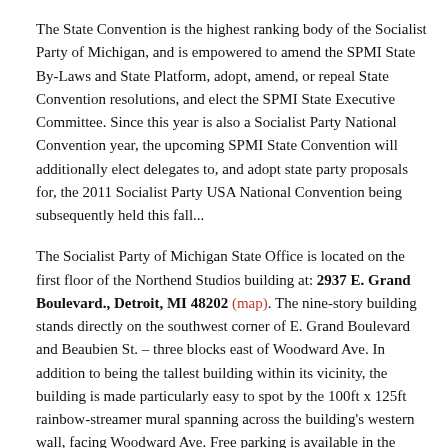The State Convention is the highest ranking body of the Socialist Party of Michigan, and is empowered to amend the SPMI State By-Laws and State Platform, adopt, amend, or repeal State Convention resolutions, and elect the SPMI State Executive Committee. Since this year is also a Socialist Party National Convention year, the upcoming SPMI State Convention will additionally elect delegates to, and adopt state party proposals for, the 2011 Socialist Party USA National Convention being subsequently held this fall...
The Socialist Party of Michigan State Office is located on the first floor of the Northend Studios building at: 2937 E. Grand Boulevard., Detroit, MI 48202 (map). The nine-story building stands directly on the southwest corner of E. Grand Boulevard and Beaubien St. – three blocks east of Woodward Ave. In addition to being the tallest building within its vicinity, the building is made particularly easy to spot by the 100ft x 125ft rainbow-streamer mural spanning across the building's western wall, facing Woodward Ave. Free parking is available in the